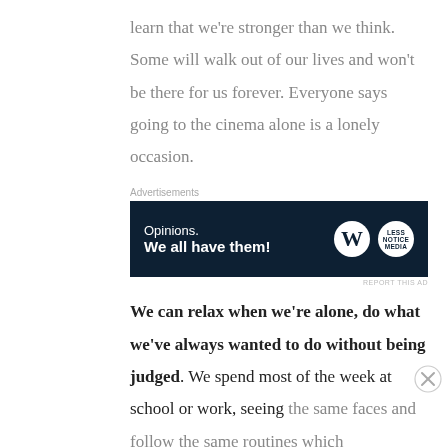learn that we’re stronger than we think. Some will walk out of our lives and won’t be there for us forever. Everyone says going to the cinema alone is a lonely occasion.
[Figure (other): Advertisement banner: dark navy background with text 'Opinions. We all have them!' and WordPress and LS logos on the right side]
We can relax when we’re alone, do what we’ve always wanted to do without being judged. We spend most of the week at school or work, seeing the same faces and follow the same routines which
[Figure (other): Victoria's Secret advertisement: Shop the Collection, Shop Now button, pink gradient background with model photo]